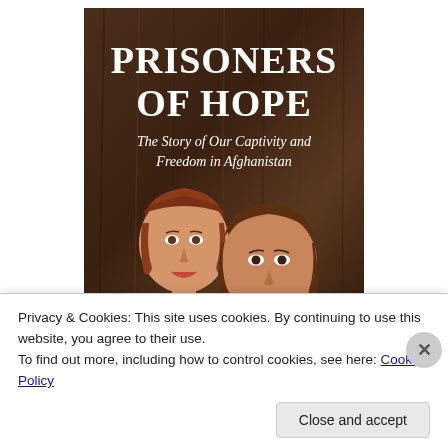[Figure (illustration): Book cover of 'Prisoners of Hope: The Story of Our Captivity and Freedom in Afghanistan' showing two women smiling against a dark brown wooden background. The title 'PRISONERS OF HOPE' is in large white serif letters at the top, with the subtitle in a handwritten-style font below.]
Privacy & Cookies: This site uses cookies. By continuing to use this website, you agree to their use.
To find out more, including how to control cookies, see here: Cookie Policy
Close and accept